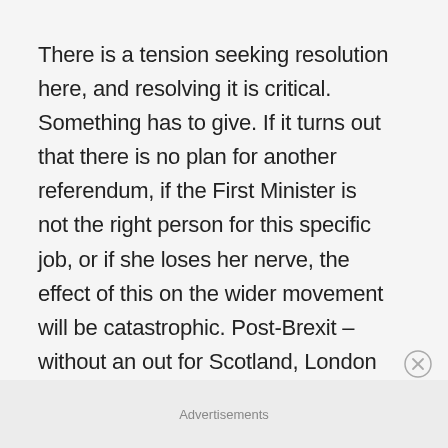There is a tension seeking resolution here, and resolving it is critical. Something has to give. If it turns out that there is no plan for another referendum, if the First Minister is not the right person for this specific job, or if she loses her nerve, the effect of this on the wider movement will be catastrophic. Post-Brexit – without an out for Scotland, London will “do whatever it takes” to stop independence. Please quit this naïve nonsense about waiting until after Brexit, until
Advertisements